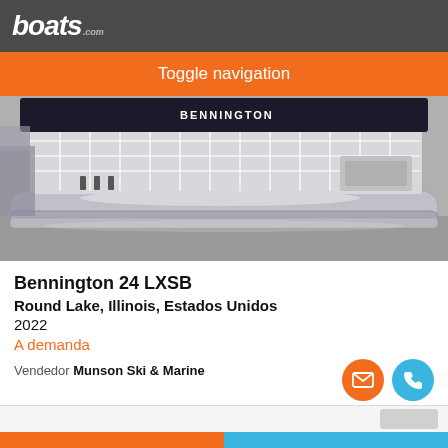boats.com
Toggle navigation
[Figure (photo): Bennington 24 LXSB pontoon boat, silver/metallic hull, photographed indoors in a showroom. The boat is shown from a front-side angle revealing its pontoon tubes, railing, and dark canopy top.]
Bennington 24 LXSB
Round Lake, Illinois, Estados Unidos
2022
A demanda
Vendedor Munson Ski & Marine
Ordenar Por    Filtrar barcos por